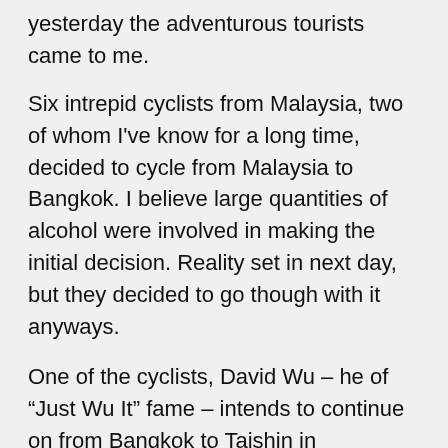yesterday the adventurous tourists came to me.
Six intrepid cyclists from Malaysia, two of whom I've know for a long time, decided to cycle from Malaysia to Bangkok. I believe large quantities of alcohol were involved in making the initial decision. Reality set in next day, but they decided to go though with it anyways.
One of the cyclists, David Wu – he of “Just Wu It” fame – intends to continue on from Bangkok to Taishin in Guandong Province of China. His journey, possibly accompanied some of the way, or all of the way by one of the other Davids, will be some 4000kms. There’s almost as many Davids as there were Bruces in the famous Python Sketch. Plus there’s a Penny, a Patrick and a Mel.
Patrick Teoh is one of the old friends. He’s well known in Malaysia as a radio personality and actor. The cyclists range in age from 40 to 60, and Patrick’s at the top of that